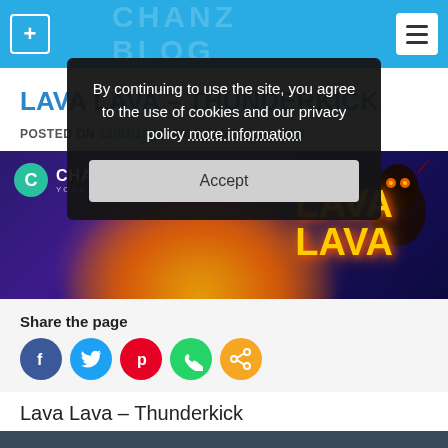CHANZ BLOG
By continuing to use the site, you agree to the use of cookies and our privacy policy more information
Accept
LAVA LAVA – THUNDERKICK
POSTED ON 12/03/2022 BY CHANZ BLOGGER
[Figure (photo): Chanz casino banner with Lava Lava game featuring a dark monster character surrounded by fire and golden sparks on a dark purple background]
Share the page
[Figure (infographic): Social media share icons: Facebook (blue circle), Twitter (light blue circle), Pinterest (red circle), WhatsApp (green circle), Share (orange circle)]
Lava Lava – Thunderkick